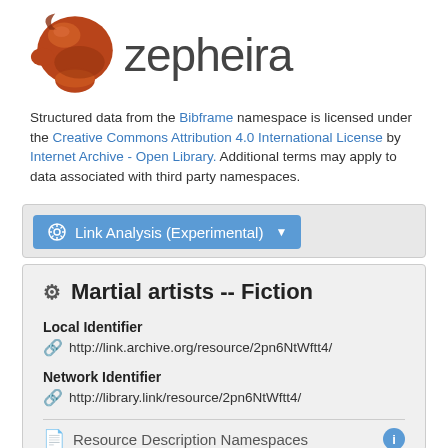[Figure (logo): Zepheira logo: brown/orange mushroom-like cap figure with the word 'zepheira' in large gray sans-serif text]
Structured data from the Bibframe namespace is licensed under the Creative Commons Attribution 4.0 International License by Internet Archive - Open Library. Additional terms may apply to data associated with third party namespaces.
[Figure (screenshot): Link Analysis (Experimental) dropdown button in blue]
Martial artists -- Fiction
Local Identifier
http://link.archive.org/resource/2pn6NtWftt4/
Network Identifier
http://library.link/resource/2pn6NtWftt4/
Resource Description Namespaces